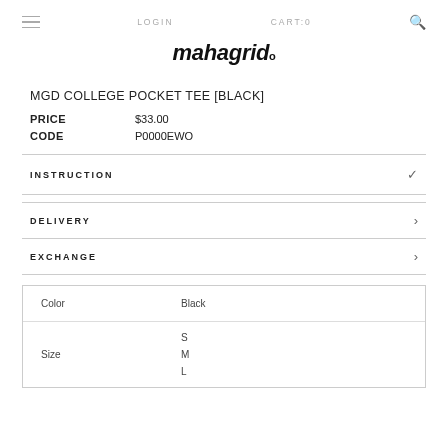LOGIN   CART:0
mahagrid.
MGD COLLEGE POCKET TEE [BLACK]
PRICE   $33.00
CODE   P0000EWO
INSTRUCTION
DELIVERY
EXCHANGE
|  |  |
| --- | --- |
| Color | Black |
| Size | S
M
L |